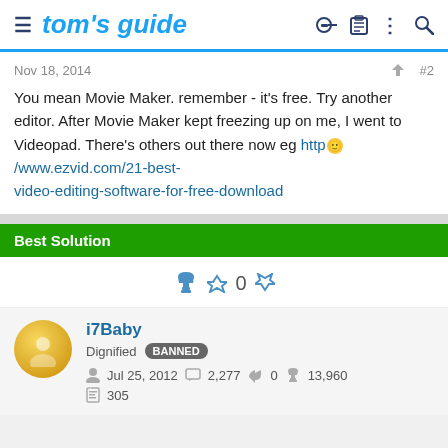tom's guide
Nov 18, 2014  #2
You mean Movie Maker. remember - it's free. Try another editor. After Movie Maker kept freezing up on me, I went to Videopad. There's others out there now eg http://www.ezvid.com/21-best-video-editing-software-for-free-download
Best Solution
0
i7Baby  Dignified  BANNED  Jul 25, 2012  2,277  0  13,960  305